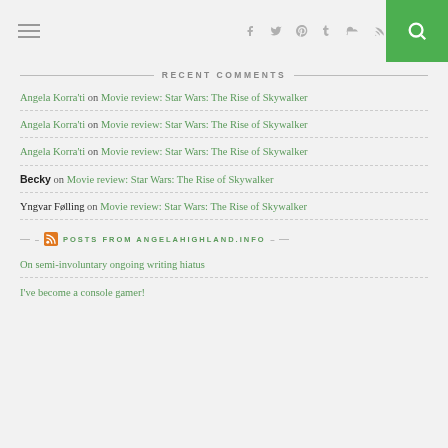Navigation bar with hamburger menu, social icons (Facebook, Twitter, Pinterest, Tumblr, SoundCloud, RSS), and search button
RECENT COMMENTS
Angela Korra'ti on Movie review: Star Wars: The Rise of Skywalker
Angela Korra'ti on Movie review: Star Wars: The Rise of Skywalker
Angela Korra'ti on Movie review: Star Wars: The Rise of Skywalker
Becky on Movie review: Star Wars: The Rise of Skywalker
Yngvar Følling on Movie review: Star Wars: The Rise of Skywalker
POSTS FROM ANGELAHIGHLAND.INFO
On semi-involuntary ongoing writing hiatus
I've become a console gamer!